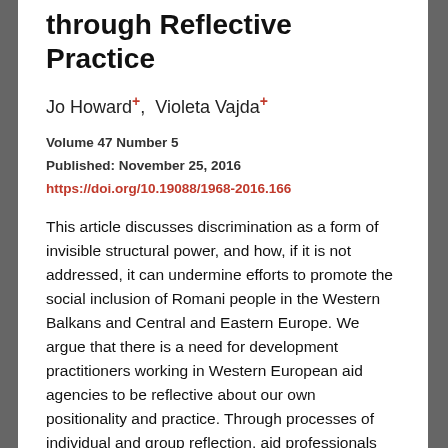through Reflective Practice
Jo Howard+,  Violeta Vajda+
Volume 47 Number 5
Published: November 25, 2016
https://doi.org/10.19088/1968-2016.166
This article discusses discrimination as a form of invisible structural power, and how, if it is not addressed, it can undermine efforts to promote the social inclusion of Romani people in the Western Balkans and Central and Eastern Europe. We argue that there is a need for development practitioners working in Western European aid agencies to be reflective about our own positionality and practice. Through processes of individual and group reflection, aid professionals can become more aware of the